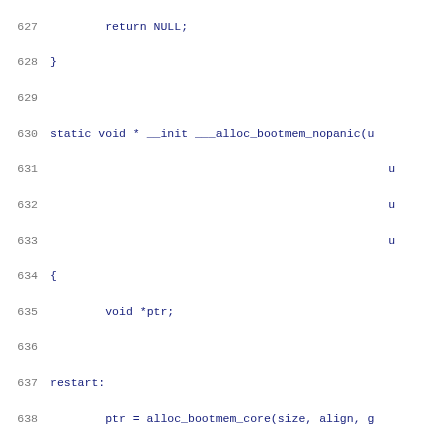Code listing lines 627-648, C source code showing ___alloc_bootmem_nopanic function